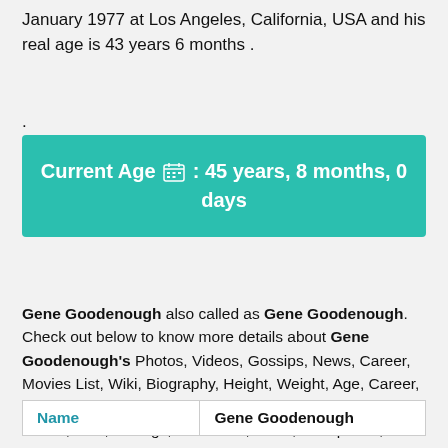January 1977 at Los Angeles, California, USA and his real age is 43 years 6 months .
.
Current Age : 45 years, 8 months, 0 days
Gene Goodenough also called as Gene Goodenough. Check out below to know more details about Gene Goodenough's Photos, Videos, Gossips, News, Career, Movies List, Wiki, Biography, Height, Weight, Age, Career, Caste, Affairs, Marital Status, Father, Mother, Family, Affairs, Kids, Siblings, Net Worth, Facts, Occupation, Education, Awards & More.
| Name | Gene Goodenough |
| --- | --- |